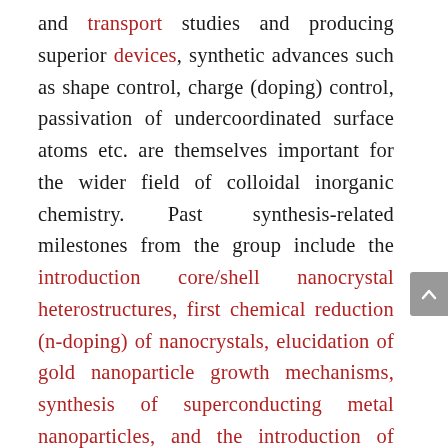and transport studies and producing superior devices, synthetic advances such as shape control, charge (doping) control, passivation of undercoordinated surface atoms etc. are themselves important for the wider field of colloidal inorganic chemistry. Past synthesis-related milestones from the group include the introduction core/shell nanocrystal heterostructures, first chemical reduction (n-doping) of nanocrystals, elucidation of gold nanoparticle growth mechanisms, synthesis of superconducting metal nanoparticles, and the introduction of size-tunable HgTe nanoparticles for infrared optoelectronics.